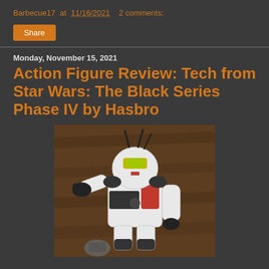Barbecue17 at 11/16/2021   2 comments:
Share
Monday, November 15, 2021
Action Figure Review: Tech from Star Wars: The Black Series Phase IV by Hasbro
[Figure (photo): Photo of Tech action figure from Star Wars: The Black Series Phase IV by Hasbro. White and black armored clone trooper figure with red accents, distinctive helmet with yellow visor and antennas, posing with one hand raised pointing outward.]